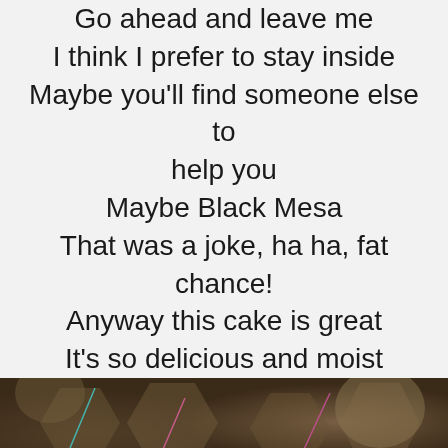Go ahead and leave me
I think I prefer to stay inside
Maybe you'll find someone else to help you
Maybe Black Mesa
That was a joke, ha ha, fat chance!
Anyway this cake is great
It's so delicious and moist
[Figure (photo): Dark brown sci-fi corridor or mechanical surface with hexagonal panels, pink and cyan light streaks]
Look at me still talking when there's